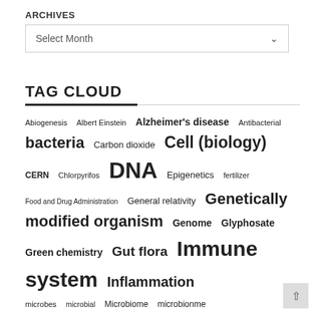ARCHIVES
Select Month
TAG CLOUD
Abiogenesis  Albert Einstein  Alzheimer's disease  Antibacterial  bacteria  Carbon dioxide  Cell (biology)  CERN  Chlorpyrifos  DNA  Epigenetics  fertilizer  Food and Drug Administration  General relativity  Genetically modified organism  Genome  Glyphosate  Green chemistry  Gut flora  Immune system  Inflammation  microbes  microbial  Microbiome  microbionme  Microorganism  Mitochondrial DNA  Monsanto  Neuron  neurons  nitrogen  Pesticide  phosphorous  Probiotic  Protein  Protein folding  proteins  Quantum mechanics  RNA  United States